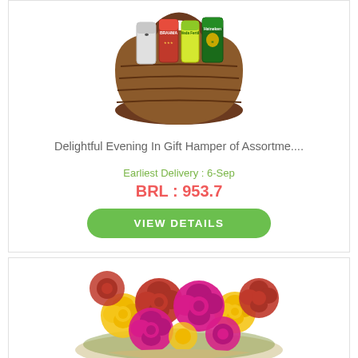[Figure (photo): A wicker basket filled with assorted beer cans and bottles including Brahma, Heineken, and other brands]
Delightful Evening In Gift Hamper of Assortme....
Earliest Delivery : 6-Sep
BRL : 953.7
VIEW DETAILS
[Figure (photo): A bouquet of mixed colorful roses including red, pink/magenta, and yellow roses]